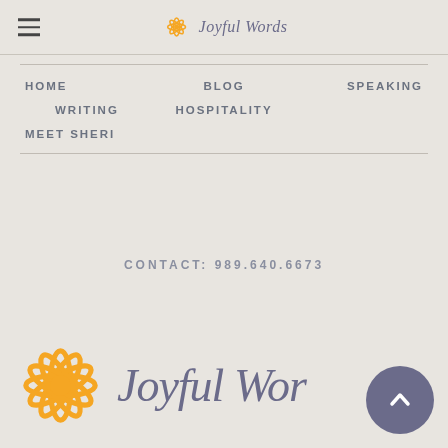[Figure (logo): Joyful Words logo in header: orange flower icon and italic script text 'Joyful Words' in purple-grey]
HOME
BLOG
SPEAKING
WRITING
HOSPITALITY
MEET SHERI
CONTACT: 989.640.6673
[Figure (logo): Large Joyful Words footer logo with orange flower and script text, plus back-to-top purple circle button with upward chevron]